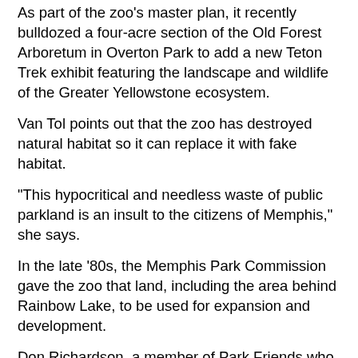As part of the zoo's master plan, it recently bulldozed a four-acre section of the Old Forest Arboretum in Overton Park to add a new Teton Trek exhibit featuring the landscape and wildlife of the Greater Yellowstone ecosystem.
Van Tol points out that the zoo has destroyed natural habitat so it can replace it with fake habitat.
"This hypocritical and needless waste of public parkland is an insult to the citizens of Memphis," she says.
In the late '80s, the Memphis Park Commission gave the zoo that land, including the area behind Rainbow Lake, to be used for expansion and development.
Don Richardson, a member of Park Friends who has done the only tree inventory of the Old Forest and who has led hikes through the area for the past 10 years, says that the zoo has underestimated public sentiment about the forest.
"The zoo was an important steward of a priceless natural resource," Richardson says, "and they bungled it."